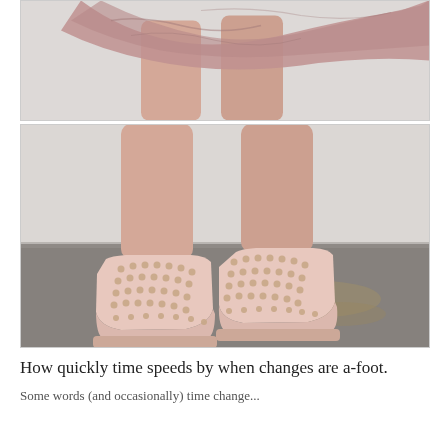[Figure (photo): Close-up of a person's legs/thighs wearing a flowing velvet pink/mauve dress or shorts, standing against a light grey wall background.]
[Figure (photo): Close-up of a person's legs wearing studded blush pink platform wedge booties/shoes covered in gold studs, standing on asphalt pavement outside against a white wall.]
How quickly time speeds by when changes are a-foot.
Some words (and occasionally) time change...